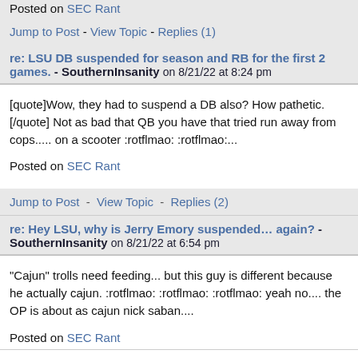Posted on SEC Rant
Jump to Post  -  View Topic  -  Replies (1)
re: LSU DB suspended for season and RB for the first 2 games. - SouthernInsanity on 8/21/22 at 8:24 pm
[quote]Wow, they had to suspend a DB also? How pathetic.[/quote] Not as bad that QB you have that tried run away from cops..... on a scooter :rotflmao: :rotflmao:...
Posted on SEC Rant
Jump to Post  -  View Topic  -  Replies (2)
re: Hey LSU, why is Jerry Emory suspended… again? - SouthernInsanity on 8/21/22 at 6:54 pm
"Cajun" trolls need feeding... but this guy is different because he actually cajun. :rotflmao: :rotflmao: :rotflmao: yeah no.... the OP is about as cajun nick saban....
Posted on SEC Rant